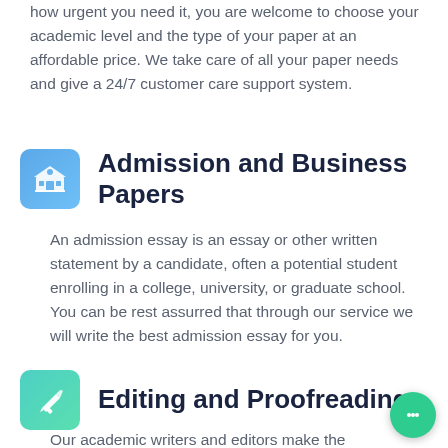how urgent you need it, you are welcome to choose your academic level and the type of your paper at an affordable price. We take care of all your paper needs and give a 24/7 customer care support system.
Admission and Business Papers
An admission essay is an essay or other written statement by a candidate, often a potential student enrolling in a college, university, or graduate school. You can be rest assurred that through our service we will write the best admission essay for you.
Editing and Proofreading
Our academic writers and editors make the necessary changes to your paper so that it is polished. We also